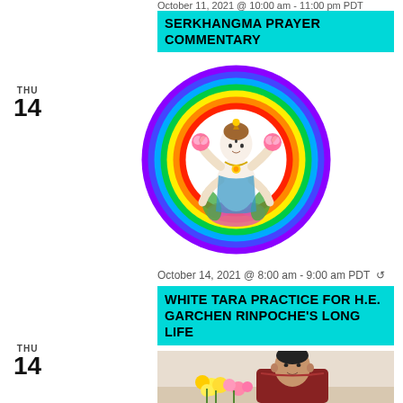October 11, 2021 @ 10:00 am - 11:00 pm PDT
SERKHANGMA PRAYER COMMENTARY
THU
14
[Figure (illustration): White Tara deity illustration inside a rainbow-colored circle. The figure is seated in lotus position with multiple arms, wearing ornate clothing and jewelry, surrounded by flowers, set against a white background within a thick rainbow border (red, orange, yellow, green, blue, violet).]
October 14, 2021 @ 8:00 am - 9:00 am PDT ↺
WHITE TARA PRACTICE FOR H.E. GARCHEN RINPOCHE'S LONG LIFE
THU
14
[Figure (photo): Photo of a Tibetan monk (H.E. Garchen Rinpoche) seated with colorful flowers (yellow and pink) in front of him, wearing dark red/maroon robes, against a light background.]